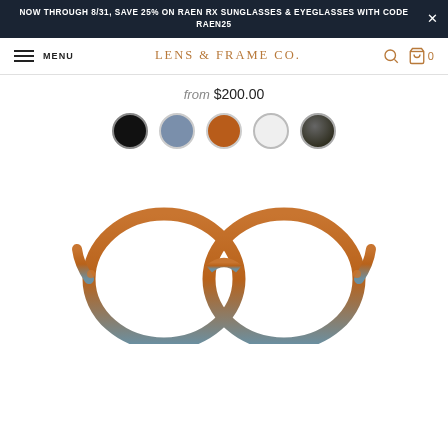NOW THROUGH 8/31, SAVE 25% ON RAEN RX SUNGLASSES & EYEGLASSES WITH CODE RAEN25
[Figure (screenshot): Navigation bar with hamburger menu icon and MENU text on left, LENS & FRAME CO. brand name in center, search and cart icons on right]
from $200.00
[Figure (infographic): Five circular color swatches: black, slate blue, amber/brown, white/cream, dark olive gradient]
[Figure (photo): Round eyeglasses frames in amber/brown to blue-grey gradient color, front view on white background]